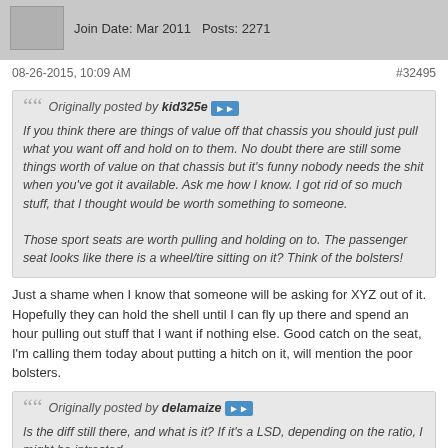Join Date: Mar 2011   Posts: 2271
08-26-2015, 10:09 AM    #32495
Originally posted by kid325e
If you think there are things of value off that chassis you should just pull what you want off and hold on to them. No doubt there are still some things worth of value on that chassis but it's funny nobody needs the shit when you've got it available. Ask me how I know. I got rid of so much stuff, that I thought would be worth something to someone.

Those sport seats are worth pulling and holding on to. The passenger seat looks like there is a wheel/tire sitting on it? Think of the bolsters!
Just a shame when I know that someone will be asking for XYZ out of it. Hopefully they can hold the shell until I can fly up there and spend an hour pulling out stuff that I want if nothing else. Good catch on the seat, I'm calling them today about putting a hitch on it, will mention the poor bolsters.
Originally posted by delamaize
Is the diff still there, and what is it? If it's a LSD, depending on the ratio, I might be intrested...
Reread the post, I'm not parting out the car, looking for someone to take the hull. I'm sitting at the donor yard and it is a temporary measure. they said it had a